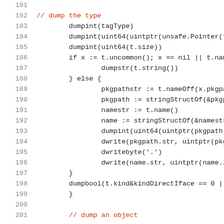181
182   // dump the type
183   dumpint(tagType)
184   dumpint(uint64(uintptr(unsafe.Pointer(t
185   dumpint(uint64(t.size))
186   if x := t.uncommon(); x == nil || t.name
187         dumpstr(t.string())
188   } else {
189         pkgpathstr := t.nameOff(x.pkgpa
190         pkgpath := stringStructOf(&pkgpa
191         namestr := t.name()
192         name := stringStructOf(&namestr)
193         dumpint(uint64(uintptr(pkgpath.
194         dwrite(pkgpath.str, uintptr(pkgp
195         dwritebyte('.')
196         dwrite(name.str, uintptr(name.le
197   }
198   dumpbool(t.kind&kindDirectIface == 0 ||
199   }
200
201   // dump an object